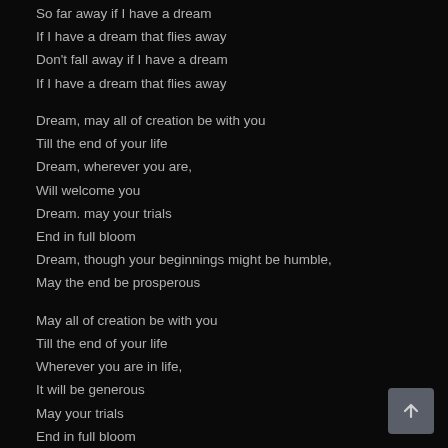So far away if I have a dream
If I have a dream that flies away
Don't fall away if I have a dream
If I have a dream that flies away

Dream, may all of creation be with you
Till the end of your life
Dream, wherever you are,
Will welcome you
Dream. may your trials
End in full bloom
Dream, though your beginnings might be humble,
May the end be prosperous

May all of creation be with you
Till the end of your life
Wherever you are in life,
It will be generous
May your trials
End in full bloom
Though your beginnings might be humble,
May the end be prosperous